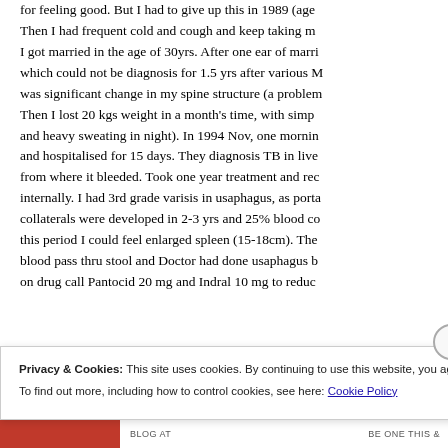for feeling good. But I had to give up this in 1989 (age Then I had frequent cold and cough and keep taking m I got married in the age of 30yrs. After one ear of marri which could not be diagnosis for 1.5 yrs after various M was significant change in my spine structure (a problem Then I lost 20 kgs weight in a month's time, with simp and heavy sweating in night). In 1994 Nov, one mornin and hospitalised for 15 days. They diagnosis TB in live from where it bleeded. Took one year treatment and rec internally. I had 3rd grade varisis in usaphagus, as porta collaterals were developed in 2-3 yrs and 25% blood co this period I could feel enlarged spleen (15-18cm). The blood pass thru stool and Doctor had done usaphagus b on drug call Pantocid 20 mg and Indral 10 mg to reduc
Privacy & Cookies: This site uses cookies. By continuing to use this website, you agree to their use.
To find out more, including how to control cookies, see here: Cookie Policy
Close and accept